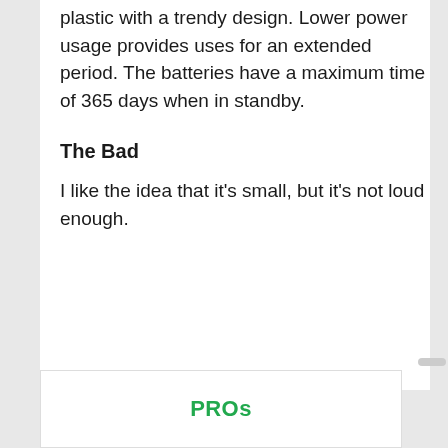plastic with a trendy design. Lower power usage provides uses for an extended period. The batteries have a maximum time of 365 days when in standby.
The Bad
I like the idea that it's small, but it's not loud enough.
PROs